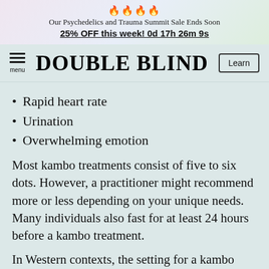🔥🔥🔥🔥
Our Psychedelics and Trauma Summit Sale Ends Soon
25% OFF this week! 0d 17h 26m 9s
DOUBLE BLIND
Rapid heart rate
Urination
Overwhelming emotion
Most kambo treatments consist of five to six dots. However, a practitioner might recommend more or less depending on your unique needs. Many individuals also fast for at least 24 hours before a kambo treatment.
In Western contexts, the setting for a kambo